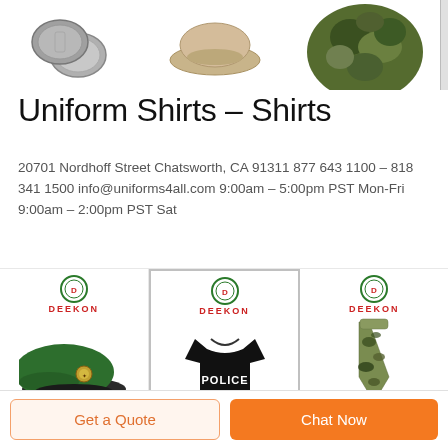[Figure (photo): Top strip showing military/uniform accessories: dog tags on left, tan beret in center, camouflage netting on right, with scroll bar on far right edge]
Uniform Shirts - Shirts
20701 Nordhoff Street Chatsworth, CA 91311 877 643 1100 - 818 341 1500 info@uniforms4all.com 9:00am - 5:00pm PST Mon-Fri 9:00am - 2:00pm PST Sat
[Figure (photo): Three product cells each with DEEKON logo. Left: green military beret with badge. Center (highlighted): black POLICE t-shirt. Right: camouflage necktie.]